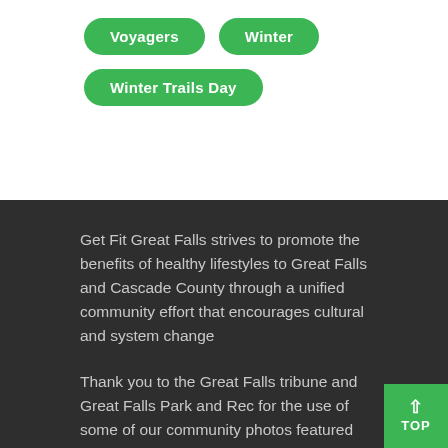Voyagers
Winter
Winter Trails Day
Get Fit Great Falls strives to promote the benefits of healthy lifestyles to Great Falls and Cascade County through a unified community effort that encourages cultural and system change
Thank you to the Great Falls tribune and Great Falls Park and Rec for the use of some of our community photos featured